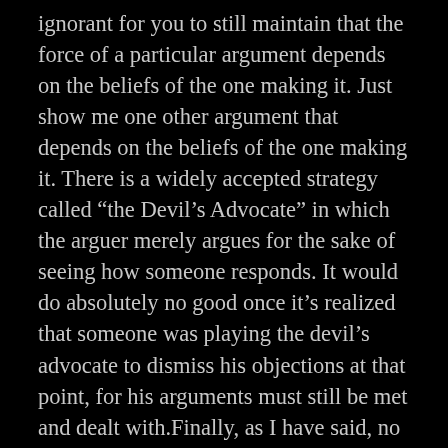ignorant for you to still maintain that the force of a particular argument depends on the beliefs of the one making it. Just show me one other argument that depends on the beliefs of the one making it. There is a widely accepted strategy called “the Devil’s Advocate” in which the arguer merely argues for the sake of seeing how someone responds. It would do absolutely no good once it’s realized that someone was playing the devil’s advocate to dismiss his objections at that point, for his arguments must still be met and dealt with.Finally, as I have said, no single argument can debunk a whole Christian worldview. Yet you claim that “an internal critique